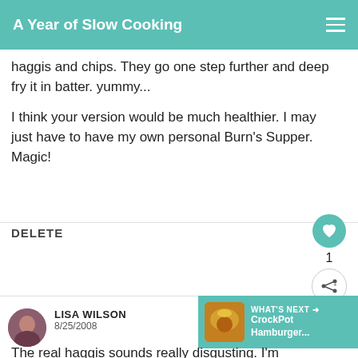A Year of Slow Cooking
haggis and chips. They go one step further and deep fry it in batter. yummy...

I think your version would be much healthier. I may just have to have my own personal Burn's Supper.
Magic!
DELETE
LISA WILSON
8/25/2008
The real haggis sounds really disgusting. I'm
[Figure (infographic): Advertisement banner: FALL IN LOVE with a heart icon and a dog image]
[Figure (infographic): WHAT'S NEXT arrow label with CrockPot Hamburger... text and a food photo]